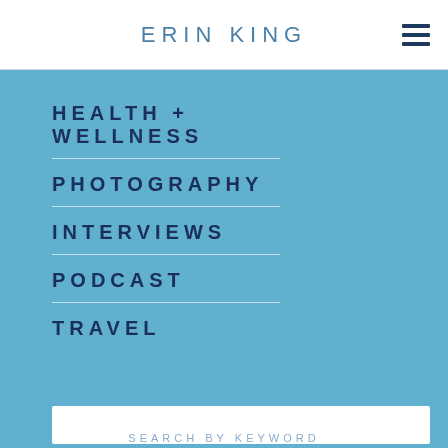ERIN KING
HEALTH + WELLNESS
PHOTOGRAPHY
INTERVIEWS
PODCAST
TRAVEL
SEARCH BY KEYWORD